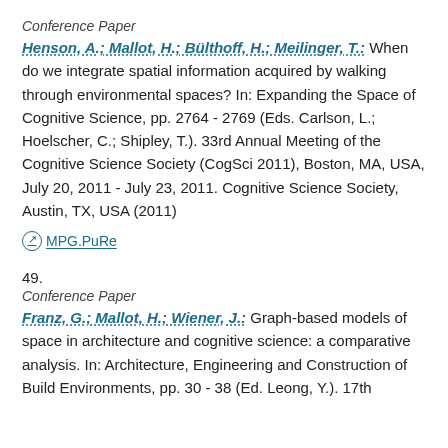Conference Paper
Henson, A.; Mallot, H.; Bülthoff, H.; Meilinger, T.: When do we integrate spatial information acquired by walking through environmental spaces? In: Expanding the Space of Cognitive Science, pp. 2764 - 2769 (Eds. Carlson, L.; Hoelscher, C.; Shipley, T.). 33rd Annual Meeting of the Cognitive Science Society (CogSci 2011), Boston, MA, USA, July 20, 2011 - July 23, 2011. Cognitive Science Society, Austin, TX, USA (2011)
MPG.PuRe
49.
Conference Paper
Franz, G.; Mallot, H.; Wiener, J.: Graph-based models of space in architecture and cognitive science: a comparative analysis. In: Architecture, Engineering and Construction of Build Environments, pp. 30 - 38 (Ed. Leong, Y.). 17th